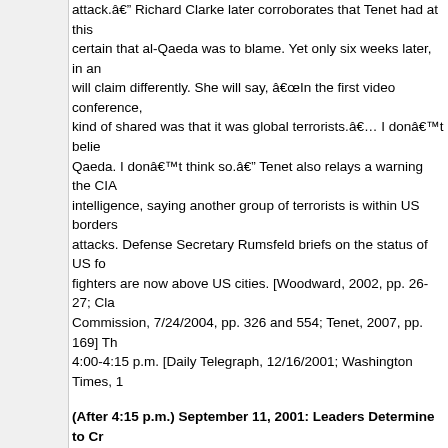attack.â€ Richard Clarke later corroborates that Tenet had at this certain that al-Qaeda was to blame. Yet only six weeks later, in an will claim differently. She will say, â€œIn the first video conference, kind of shared was that it was global terrorists.â€¦ I donâ€™t belie Qaeda. I donâ€™t think so.â€ Tenet also relays a warning the CIA intelligence, saying another group of terrorists is within US borders attacks. Defense Secretary Rumsfeld briefs on the status of US fo fighters are now above US cities. [Woodward, 2002, pp. 26-27; Cla Commission, 7/24/2004, pp. 326 and 554; Tenet, 2007, pp. 169] Th 4:00-4:15 p.m. [Daily Telegraph, 12/16/2001; Washington Times, 1
(After 4:15 p.m.) September 11, 2001: Leaders Determine to Cr
After President Bush leaves his video conference, other top leader take. Counterterrorism â€œtsarâ€ Richard Clarke asks what to do are behind the attacks. Deputy Secretary of State Richard Armitage Taliban in no uncertain terms that if this happened, itâ€™s their as Taliban and al-Qaeda now. They both go down.â€ Regarding Paki Armitage says, â€œTell them to get out of the way. We have to elim 2004, pp. 22-23]
August-September 2002: â€™Stunningly Explicit and Specific Bombing
A number of governments are given warnings suggesting an upcom island of Bali, Indonesia, but this does not prevent the bombing of t 2002 (see October 12, 2002). Mohammed Mansour Jabarah, an al citizenship, attended a meeting held in southern Thailand led by Ha also heads the al-Qaeda affiliate Jemaah Islamiyah (JI). Hambali a nightclubs and restaurants in Southeast Asia. A second meeting he by Jabarah narrowed the target to nightclubs in Bali. Jabarah was deported to Canada. By August, he is in the US and interrogated b attack plan. As a result, US officials pass a warning to all Southea